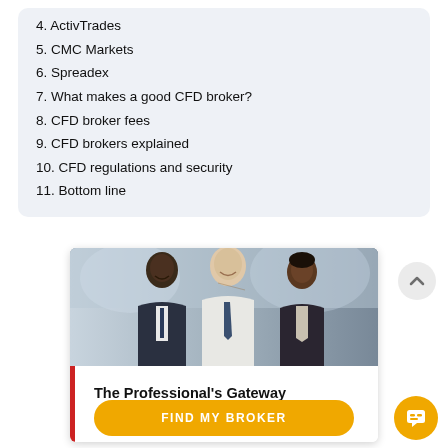4. ActivTrades
5. CMC Markets
6. Spreadex
7. What makes a good CFD broker?
8. CFD broker fees
9. CFD brokers explained
10. CFD regulations and security
11. Bottom line
[Figure (photo): Three business professionals in suits looking at something together, with an advertisement overlay reading 'The Professional's Gateway To The World's Markets' and a 'FIND MY BROKER' button]
FIND MY BROKER